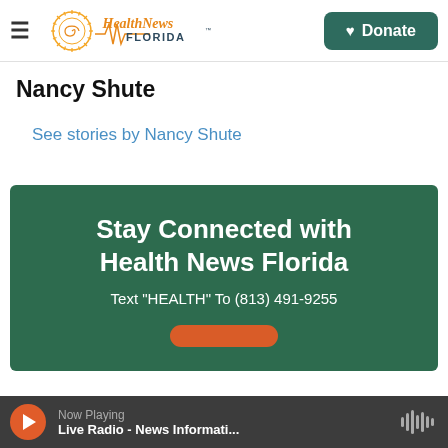Health News Florida — Donate
Nancy Shute
See stories by Nancy Shute
[Figure (infographic): Dark green promotional banner reading: Stay Connected with Health News Florida. Text 'HEALTH' To (813) 491-9255. Orange rounded button below.]
Now Playing Live Radio - News Informati...